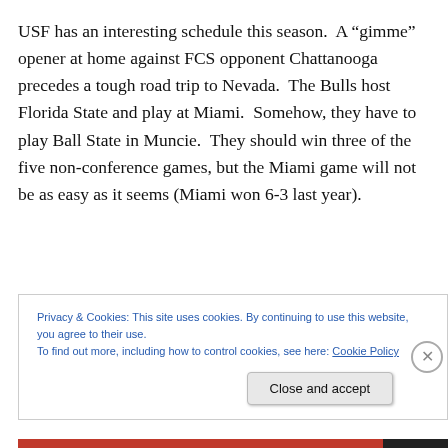USF has an interesting schedule this season.  A “gimme” opener at home against FCS opponent Chattanooga precedes a tough road trip to Nevada.  The Bulls host Florida State and play at Miami.  Somehow, they have to play Ball State in Muncie.  They should win three of the five non-conference games, but the Miami game will not be as easy as it seems (Miami won 6-3 last year).
Privacy & Cookies: This site uses cookies. By continuing to use this website, you agree to their use.
To find out more, including how to control cookies, see here: Cookie Policy
Close and accept